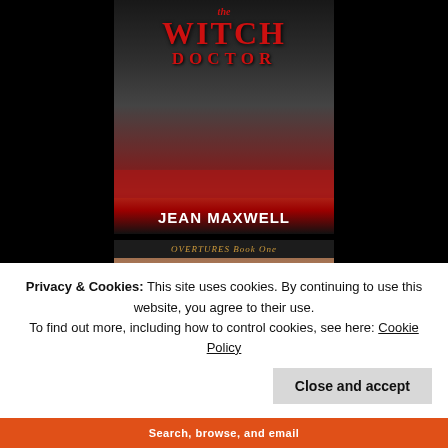[Figure (photo): Book cover for 'The Witch Doctor' by Jean Maxwell. Black and white photo of two figures with red stylized title text at top and author name in white at bottom.]
[Figure (photo): Partial book cover showing 'Overtures Book One' with a close-up photo of a person's face/ear and a violin.]
Privacy & Cookies: This site uses cookies. By continuing to use this website, you agree to their use.
To find out more, including how to control cookies, see here: Cookie Policy
Close and accept
Search, browse, and email